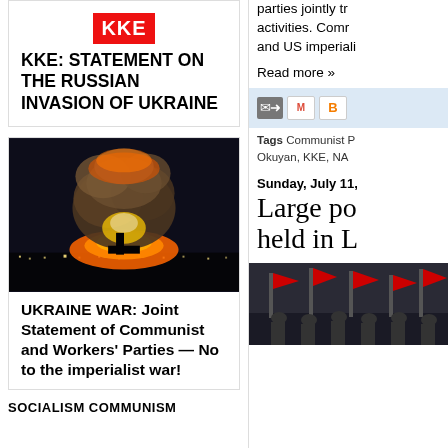[Figure (logo): KKE red logo block with letters KKE in white on red background]
KKE: STATEMENT ON THE RUSSIAN INVASION OF UKRAINE
[Figure (photo): Nighttime explosion with large orange fireball and smoke cloud over industrial area]
UKRAINE WAR: Joint Statement of Communist and Workers' Parties — No to the imperialist war!
SOCIALISM COMMUNISM
parties jointly tr activities. Comm and US imperiali
Read more »
Tags Communist P Okuyan, KKE, NA
Sunday, July 11,
Large po held in L
[Figure (photo): Photo of protesters with red flags and banners]